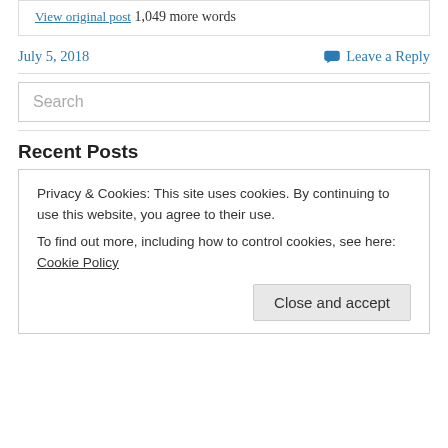View original post 1,049 more words
July 5, 2018
Leave a Reply
Search
Recent Posts
Privacy & Cookies: This site uses cookies. By continuing to use this website, you agree to their use.
To find out more, including how to control cookies, see here: Cookie Policy
Close and accept